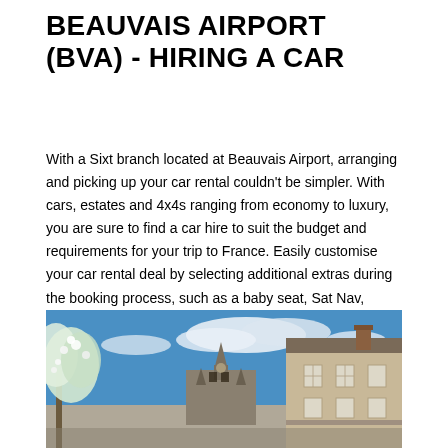BEAUVAIS AIRPORT (BVA) - HIRING A CAR
With a Sixt branch located at Beauvais Airport, arranging and picking up your car rental couldn't be simpler. With cars, estates and 4x4s ranging from economy to luxury, you are sure to find a car hire to suit the budget and requirements for your trip to France. Easily customise your car rental deal by selecting additional extras during the booking process, such as a baby seat, Sat Nav, unlimited mileage and additional insurance options.
[Figure (photo): Photograph of Beauvais, France showing a Gothic cathedral in the background, a residential building with mansard roof on the right, and flowering white trees against a bright blue sky with clouds in the foreground.]